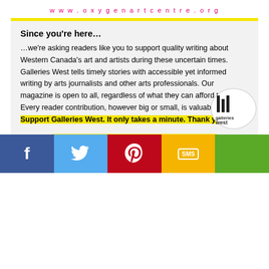www.oxygenartcentre.org
Since you’re here… …we’re asking readers like you to support quality writing about Western Canada’s art and artists during these uncertain times. Galleries West tells timely stories with accessible yet informed writing by arts journalists and other arts professionals. Our magazine is open to all, regardless of what they can afford to pay. Every reader contribution, however big or small, is valuable. Support Galleries West. It only takes a minute. Thank you.
Support Galleries West, Donate Now
[Figure (logo): Galleries West logo: black vertical lines and 'galleries west' text in a white circle]
[Figure (infographic): Social media share bar with Facebook (blue), Twitter (light blue), Pinterest (red), SMS (yellow), and Galleries West logo (green) buttons]